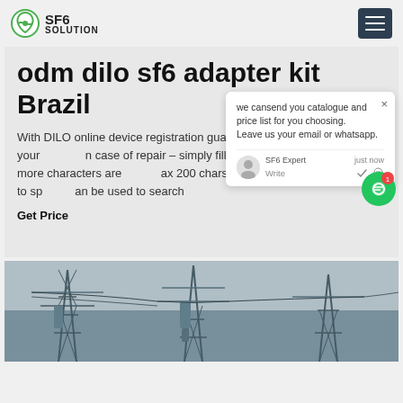SF6 SOLUTION
odm dilo sf6 adapter kit Brazil
With DILO online device registration guarantee optimum service of your in case of repair – simply fill in online. words with 2 or more characters are ax 200 chars total Space is used to sp an be used to search
Get Price
[Figure (screenshot): Chat popup overlay with message: we can send you catalogue and price list for you choosing. Leave us your email or whatsapp. SF6 Expert just now. Write field with thumbs up and paperclip icons.]
[Figure (photo): Electrical power substation with transmission towers and equipment, black and white/grey tones.]